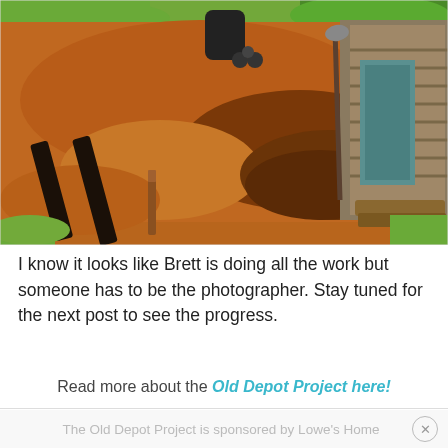[Figure (photo): Construction site photo showing excavated red/orange dirt area next to a rustic log cabin structure. Dark railroad ties or boards laid in a trench on the left, with a wooden stake/rebar post. A shovel leans against the cabin wall. A black barrel and wheeled equipment visible in background. Green grass surrounds the work area.]
I know it looks like Brett is doing all the work but someone has to be the photographer. Stay tuned for the next post to see the progress.
Read more about the Old Depot Project here!
The Old Depot Project is sponsored by Lowe's Home